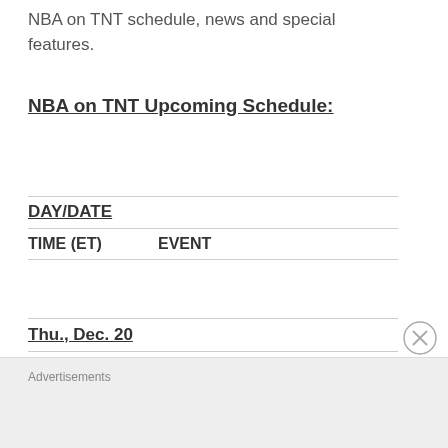NBA on TNT schedule, news and special features.
NBA on TNT Upcoming Schedule:
| DAY/DATE | TIME (ET) | EVENT |
| --- | --- | --- |
| Thu., Dec. 20 |  |  |
Advertisements